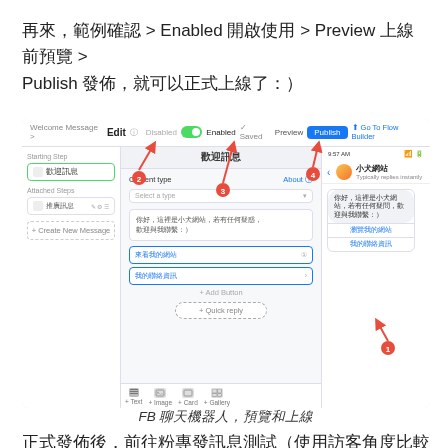再來，範例確認 > Enabled 開啟使用 > Preview 上線前預覽 > Publish 發佈，就可以正式上線了：）
[Figure (screenshot): Screenshot of a chatbot editor UI showing Welcome Message edit panel with Enabled toggle, Publish button, chat preview panel on right, and numbered red arrows (1-4) indicating steps: 1 pointing to a chat button, 2 pointing to Enabled toggle, 3 pointing to saved state, 4 pointing to Publish button.]
FB 聊天機器人，預覽和上線
正式發佈後，前往粉專發訊息測試（使用訪客角度比較準